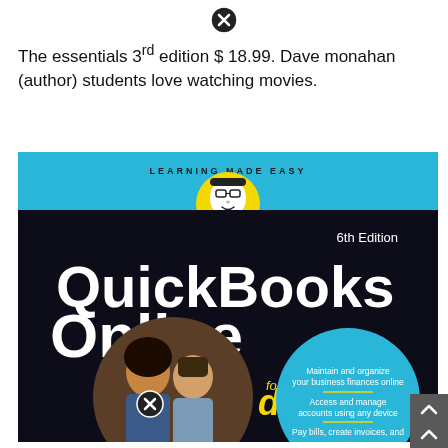[Figure (other): Close/X button icon at top center]
The essentials 3rd edition $ 18.99. Dave monahan (author) students love watching movies.
[Figure (photo): Book cover of QuickBooks Online for Dummies, 6th Edition. Features the Dummies brand logo (character with glasses in yellow circle), 'LEARNING MADE EASY' header in cyan band, large white text 'QuickBooks Online', 'for dummies' yellow logo, 'A Wiley Brand' text, and a circular photo of two women. Cyan circle lists: 'Maintain and organize your business finances online', 'Access and manage accounts using any device', 'Pay bills, create invoices, and'. Dark/black background.]
[Figure (other): Close/X button icon at bottom center of image]
[Figure (other): Scroll up arrow button at bottom right corner]